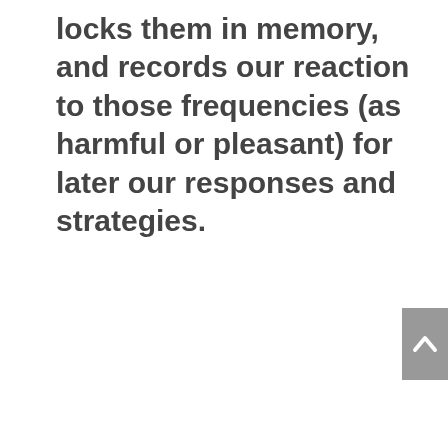locks them in memory, and records our reaction to those frequencies (as harmful or pleasant) for later our responses and strategies.